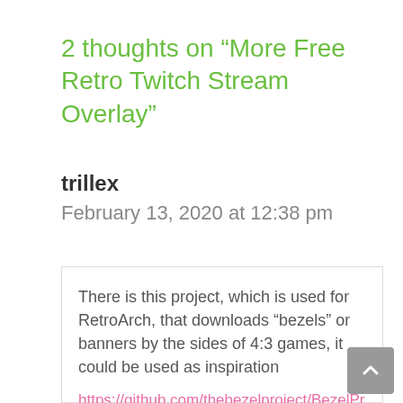2 thoughts on “More Free Retro Twitch Stream Overlay”
trillex
February 13, 2020 at 12:38 pm
There is this project, which is used for RetroArch, that downloads “bezels” or banners by the sides of 4:3 games, it could be used as inspiration
https://github.com/thebezelproject/BezelProject/blob/master/README.md